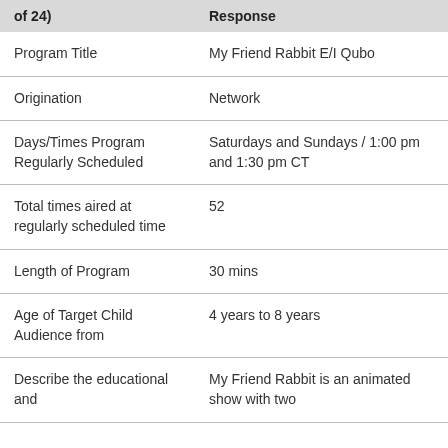| of 24) | Response |
| --- | --- |
| Program Title | My Friend Rabbit E/I Qubo |
| Origination | Network |
| Days/Times Program Regularly Scheduled | Saturdays and Sundays / 1:00 pm and 1:30 pm CT |
| Total times aired at regularly scheduled time | 52 |
| Length of Program | 30 mins |
| Age of Target Child Audience from | 4 years to 8 years |
| Describe the educational and | My Friend Rabbit is an animated show with two |